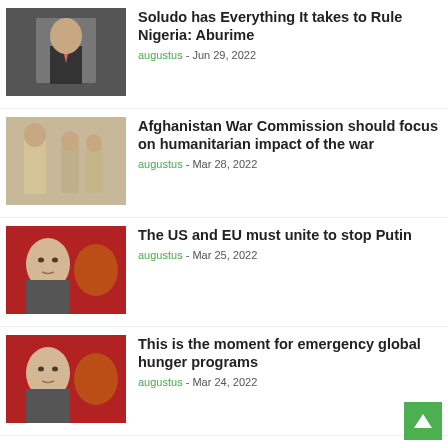[Figure (photo): Man in dark suit with pink tie, partially cropped at top]
Soludo has Everything It takes to Rule Nigeria: Aburime
augustus - Jun 29, 2022
[Figure (photo): People in tan/beige clothing, group scene]
Afghanistan War Commission should focus on humanitarian impact of the war
augustus - Mar 28, 2022
[Figure (photo): Vladimir Putin portrait, red background with Russian coat of arms]
The US and EU must unite to stop Putin
augustus - Mar 25, 2022
[Figure (photo): Vladimir Putin portrait, red background with Russian coat of arms]
This is the moment for emergency global hunger programs
augustus - Mar 24, 2022